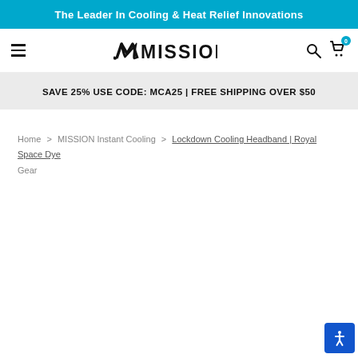The Leader In Cooling & Heat Relief Innovations
[Figure (logo): MISSION brand logo with stylized M icon]
SAVE 25% USE CODE: MCA25 | FREE SHIPPING OVER $50
Home > MISSION Instant Cooling > Lockdown Cooling Headband | Royal Space Dye > Gear